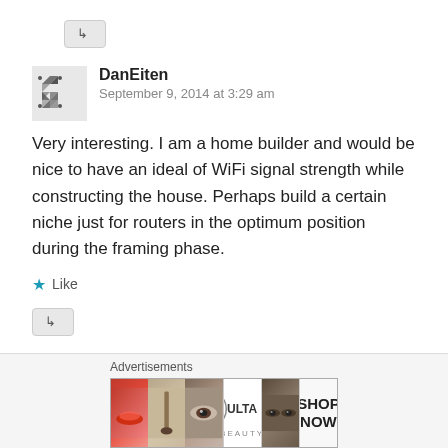↳ Reply
DanEiten
September 9, 2014 at 3:29 am
Very interesting. I am a home builder and would be nice to have an ideal of WiFi signal strength while constructing the house. Perhaps build a certain niche just for routers in the optimum position during the framing phase.
★ Like
↳ Reply
Advertisements
[Figure (other): ULTA Beauty advertisement banner with makeup imagery including lips, brush, eye, ULTA logo, eyes, and SHOP NOW text]